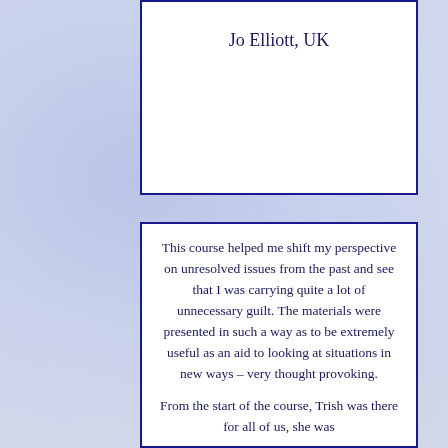Jo Elliott, UK
This course helped me shift my perspective on unresolved issues from the past and see that I was carrying quite a lot of unnecessary guilt. The materials were presented in such a way as to be extremely useful as an aid to looking at situations in new ways – very thought provoking.

From the start of the course, Trish was there for all of us, she was